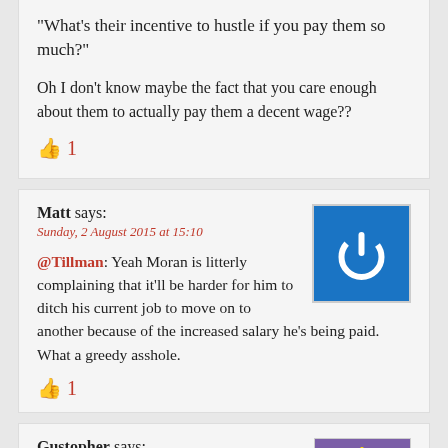“What’s their incentive to hustle if you pay them so much?”
Oh I don’t know maybe the fact that you care enough about them to actually pay them a decent wage??
👍 1
Matt says:
Sunday, 2 August 2015 at 15:10
[Figure (illustration): Blue square icon with white power button symbol]
@Tillman: Yeah Moran is litterly complaining that it’ll be harder for him to ditch his current job to move on to another because of the increased salary he’s being paid. What a greedy asshole.
👍 1
Gustopher says:
Sunday, 2 August 2015 at 15:17
[Figure (illustration): Small avatar image of a cartoon deer/goat character with a party hat on purple background]